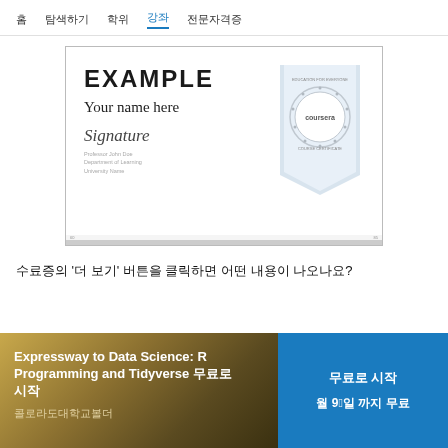홈  탐색하기  학위  강좌  전문자격증
[Figure (illustration): Coursera course certificate example showing 'EXAMPLE', 'Your name here', a signature, and a Coursera seal on a ribbon]
수료증의 '더 보기' 버튼을 클릭하면 어떤 내용이 나오나요?
Expressway to Data Science: R Programming and Tidyverse 전문자격증
콜로라도대학교볼더
무료로 시작  월 9월1일 까지 무료